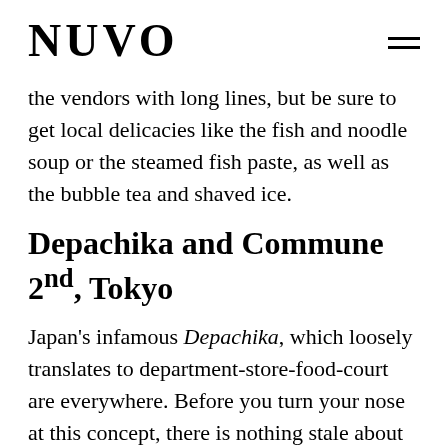NUVO
the vendors with long lines, but be sure to get local delicacies like the fish and noodle soup or the steamed fish paste, as well as the bubble tea and shaved ice.
Depachika and Commune 2nd, Tokyo
Japan's infamous Depachika, which loosely translates to department-store-food-court are everywhere. Before you turn your nose at this concept, there is nothing stale about them, and they often offer upscale cuisine and charming decoration. They are found in all high, and